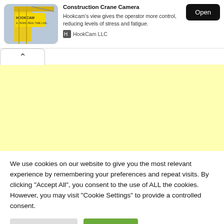[Figure (screenshot): App store card showing HookCam construction crane camera app with thumbnail image of crane with HookCam branding, developer name HookCam LLC, description text, and Open button]
Hookcam's view gives the operator more control, reducing levels of stress and fatigue.
[Figure (other): Advertisement placeholder area with light yellow background, with a collapse/chevron tab at top left]
We use cookies on our website to give you the most relevant experience by remembering your preferences and repeat visits. By clicking "Accept All", you consent to the use of ALL the cookies. However, you may visit "Cookie Settings" to provide a controlled consent.
Cookie Settings
Accept All